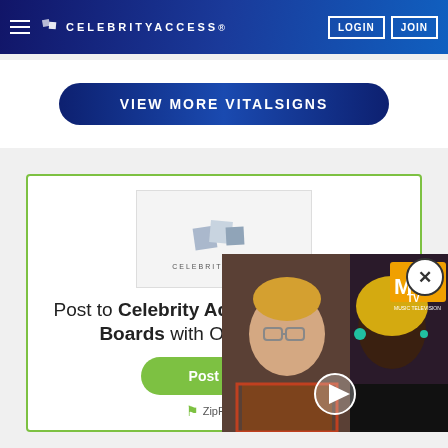CelebrityAccess — LOGIN | JOIN
VIEW MORE VITALSIGNS
[Figure (logo): CelebrityAccess logo — stylized overlapping rectangles above text CELEBRITYACCESS.]
Post to Celebrity Access and 100+ Job Boards with One Submission
Post a Job
ZipRecruiter
[Figure (photo): Video thumbnail showing a man with glasses and a woman with blonde hair, with MTV logo visible, and a play button overlay. A close (X) button appears in top-right.]